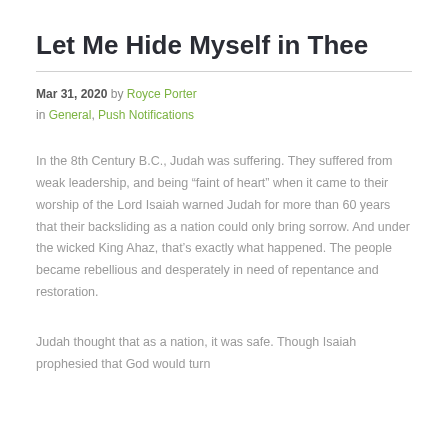Let Me Hide Myself in Thee
Mar 31, 2020 by Royce Porter
in General, Push Notifications
In the 8th Century B.C., Judah was suffering. They suffered from weak leadership, and being “faint of heart” when it came to their worship of the Lord Isaiah warned Judah for more than 60 years that their backsliding as a nation could only bring sorrow. And under the wicked King Ahaz, that’s exactly what happened. The people became rebellious and desperately in need of repentance and restoration.
Judah thought that as a nation, it was safe. Though Isaiah prophesied that God would turn